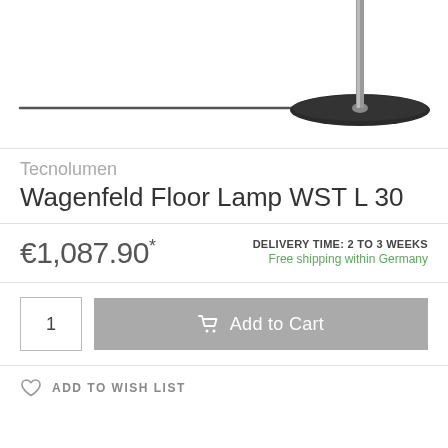[Figure (photo): Bottom portion of a Tecnolumen Wagenfeld Floor Lamp WST L 30 showing the black circular base and metal pole against a white background, with a black power cord extending to the left.]
Tecnolumen
Wagenfeld Floor Lamp WST L 30
€1,087.90*
DELIVERY TIME: 2 TO 3 WEEKS
Free shipping within Germany
1
Add to Cart
ADD TO WISH LIST